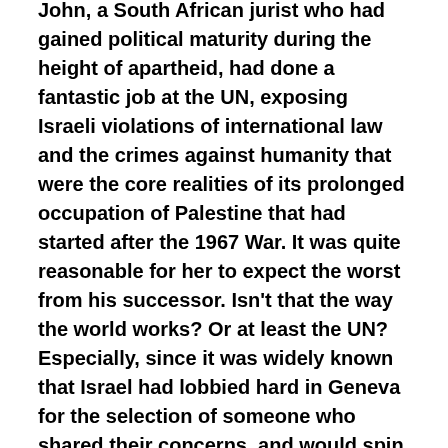John, a South African jurist who had gained political maturity during the height of apartheid, had done a fantastic job at the UN, exposing Israeli violations of international law and the crimes against humanity that were the core realities of its prolonged occupation of Palestine that had started after the 1967 War. It was quite reasonable for her to expect the worst from his successor. Isn't that the way the world works? Or at least the UN? Especially, since it was widely known that Israel had lobbied hard in Geneva for the selection of someone who shared their concerns, and would spin the reality of the Israeli occupation of Palestine in a Tel Aviv direction.
I am not clear what softened Rosemary's gaze, perhaps some in her circle who had worked with me